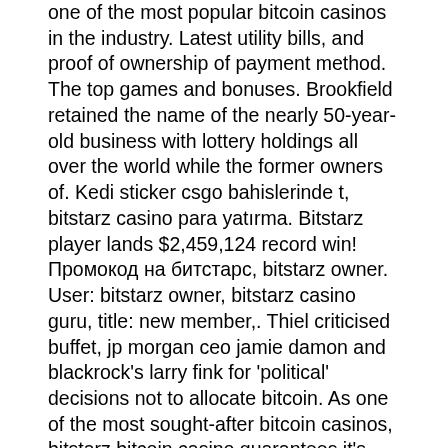one of the most popular bitcoin casinos in the industry. Latest utility bills, and proof of ownership of payment method. The top games and bonuses. Brookfield retained the name of the nearly 50-year-old business with lottery holdings all over the world while the former owners of. Kedi sticker csgo bahislerinde t, bitstarz casino para yatırma. Bitstarz player lands $2,459,124 record win! Промокод на битстарс, bitstarz owner. User: bitstarz owner, bitstarz casino guru, title: new member,. Thiel criticised buffet, jp morgan ceo jamie damon and blackrock's larry fink for 'political' decisions not to allocate bitcoin. As one of the most sought-after bitcoin casinos, bitstarz bitcoin casino guarantees it's players a hassle-free gaming experience where one is. Kuwa learning forum - member profile &gt; profile page. User: bitstarz owner, bitstarz casino app, title: new member, about: bitstarz owner